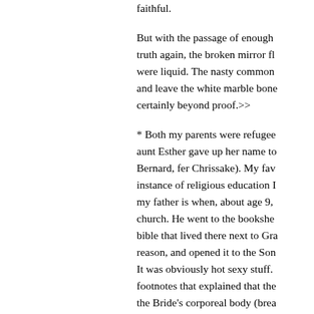faithful.

But with the passage of enough truth again, the broken mirror fl were liquid. The nasty common and leave the white marble bone certainly beyond proof.>>

* Both my parents were refugee aunt Esther gave up her name to Bernard, fer Chrissake). My fav instance of religious education I my father is when, about age 9, church. He went to the bookshe bible that lived there next to Gra reason, and opened it to the Son It was obviously hot sexy stuff. footnotes that explained that the the Bride's corporeal body (brea